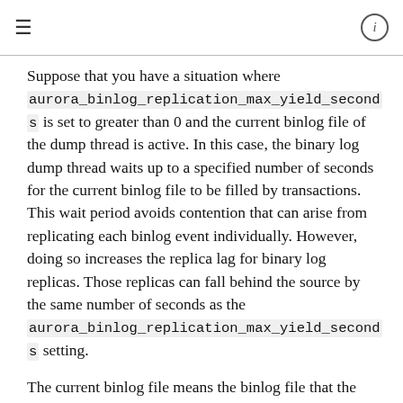≡  ℹ
Suppose that you have a situation where aurora_binlog_replication_max_yield_seconds is set to greater than 0 and the current binlog file of the dump thread is active. In this case, the binary log dump thread waits up to a specified number of seconds for the current binlog file to be filled by transactions. This wait period avoids contention that can arise from replicating each binlog event individually. However, doing so increases the replica lag for binary log replicas. Those replicas can fall behind the source by the same number of seconds as the aurora_binlog_replication_max_yield_seconds setting.
The current binlog file means the binlog file that the dump thread is currently reading to perform replication. We consider that a binlog file is active when the binlog